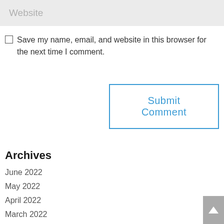Website
Save my name, email, and website in this browser for the next time I comment.
Submit Comment
Archives
June 2022
May 2022
April 2022
March 2022